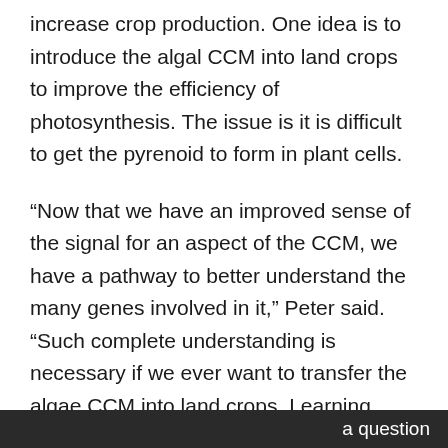increase crop production. One idea is to introduce the algal CCM into land crops to improve the efficiency of photosynthesis. The issue is it is difficult to get the pyrenoid to form in plant cells.
“Now that we have an improved sense of the signal for an aspect of the CCM, we have a pathway to better understand the many genes involved in it,” Peter said. “Such complete understanding is necessary if we ever want to transfer the algae CCM into land crops. Learning more about how the CCM is regulated also could help with efforts to engineer algae well suited for the conditions in biofuel facilities.”
a question